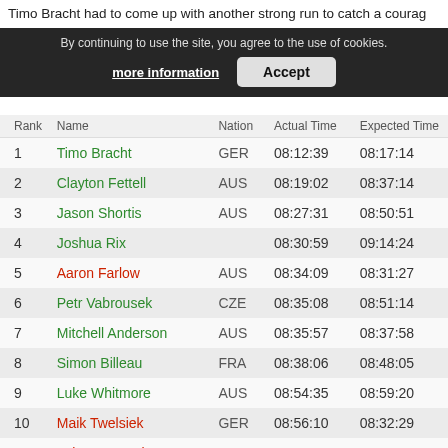Timo Bracht had to come up with another strong run to catch a courag…
By continuing to use the site, you agree to the use of cookies.
more information   Accept
| Rank | Name | Nation | Actual Time | Expected Time |
| --- | --- | --- | --- | --- |
| 1 | Timo Bracht | GER | 08:12:39 | 08:17:14 |
| 2 | Clayton Fettell | AUS | 08:19:02 | 08:37:14 |
| 3 | Jason Shortis | AUS | 08:27:31 | 08:50:51 |
| 4 | Joshua Rix |  | 08:30:59 | 09:14:24 |
| 5 | Aaron Farlow | AUS | 08:34:09 | 08:31:27 |
| 6 | Petr Vabrousek | CZE | 08:35:08 | 08:51:14 |
| 7 | Mitchell Anderson | AUS | 08:35:57 | 08:37:58 |
| 8 | Simon Billeau | FRA | 08:38:06 | 08:48:05 |
| 9 | Luke Whitmore | AUS | 08:54:35 | 08:59:20 |
| 10 | Maik Twelsiek | GER | 08:56:10 | 08:32:29 |
| 11 | Luke McKenzie | AUS | 09:03:44 | 08:35:03 |
| 12 | Leon Griffin | AUS | 09:03:49 | 08:32:23 |
| 13 | Guy Crawford | AUS | 09:10:50 | 08:55:10 |
| 14 | Shinya Suganuma | JPN | 09:19:15 | 09:10:15 |